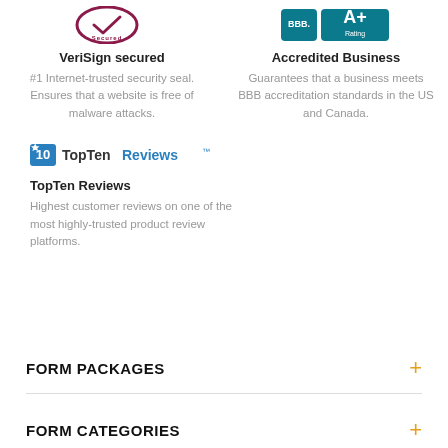[Figure (logo): VeriSign Secured logo - circular checkmark design with burgundy/maroon color]
VeriSign secured
#1 Internet-trusted security seal. Ensures that a website is free of malware attacks.
[Figure (logo): BBB A+ Rating logo - Better Business Bureau accreditation badge in teal/blue]
Accredited Business
Guarantees that a business meets BBB accreditation standards in the US and Canada.
[Figure (logo): TopTenReviews logo with blue star and text]
TopTen Reviews
Highest customer reviews on one of the most highly-trusted product review platforms.
FORM PACKAGES
FORM CATEGORIES